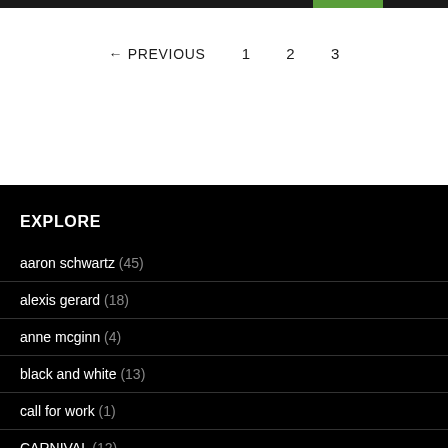← PREVIOUS  1  2  3
EXPLORE
aaron schwartz (45)
alexis gerard (18)
anne mcginn (4)
black and white (13)
call for work (1)
CARNIVAL (12)